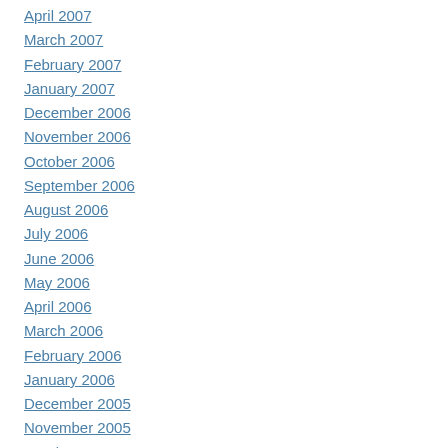April 2007
March 2007
February 2007
January 2007
December 2006
November 2006
October 2006
September 2006
August 2006
July 2006
June 2006
May 2006
April 2006
March 2006
February 2006
January 2006
December 2005
November 2005
October 2005